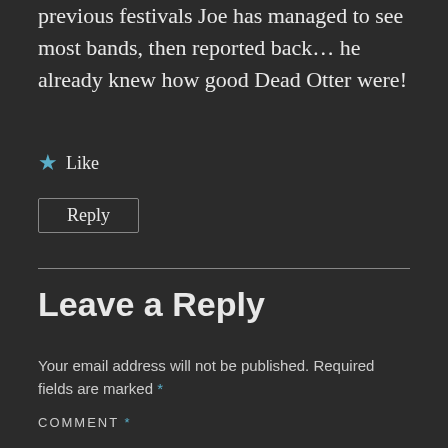previous festivals Joe has managed to see most bands, then reported back… he already knew how good Dead Otter were!
★ Like
Reply
Leave a Reply
Your email address will not be published. Required fields are marked *
COMMENT *